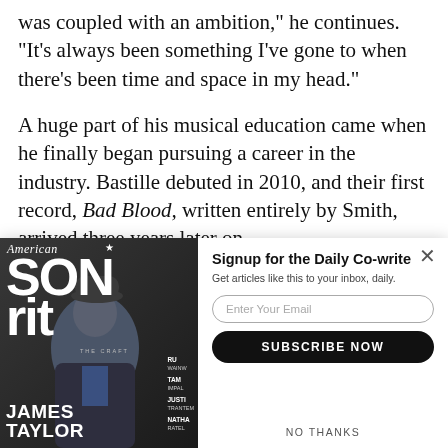was coupled with an ambition," he continues. "It's always been something I've gone to when there's been time and space in my head."
A huge part of his musical education came when he finally began pursuing a career in the industry. Bastille debuted in 2010, and their first record, Bad Blood, written entirely by Smith, arrived three years later on
[Figure (screenshot): Popup overlay with American Songwriter magazine cover featuring James Taylor on the left, and a newsletter signup form on the right with title 'Signup for the Daily Co-write', subtitle 'Get articles like this to your inbox, daily.', email input field, 'SUBSCRIBE NOW' button, and 'NO THANKS' link. An X close button appears in the top right corner.]